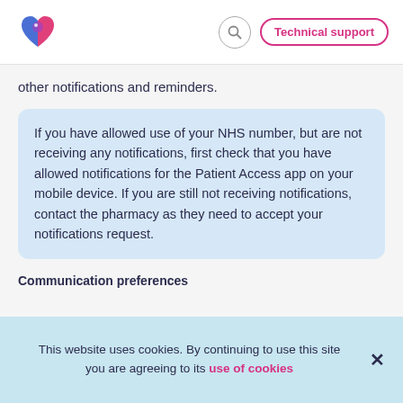Patient Access — Technical support
other notifications and reminders.
If you have allowed use of your NHS number, but are not receiving any notifications, first check that you have allowed notifications for the Patient Access app on your mobile device. If you are still not receiving notifications, contact the pharmacy as they need to accept your notifications request.
Communication preferences
This website uses cookies. By continuing to use this site you are agreeing to its use of cookies